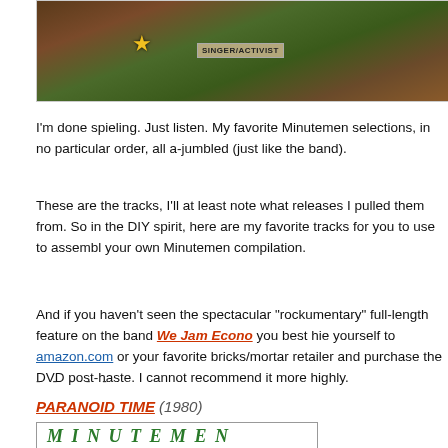[Figure (photo): Colorful illustrated image partially visible at top of page, showing a figure with a star medal and 'SINGER/ACTIVIST' label]
I'm done spieling. Just listen. My favorite Minutemen selections, in no particular order, all a-jumbled (just like the band).
These are the tracks, I'll at least note what releases I pulled them from. So in the DIY spirit, here are my favorite tracks for you to use to assemble your own Minutemen compilation.
And if you haven't seen the spectacular "rockumentary" full-length feature on the band We Jam Econo you best hie yourself to amazon.com or your favorite bricks/mortar retailer and purchase the DVD post-haste. I cannot recommend it more highly.
- - - - -
PARANOID TIME (1980)
[Figure (illustration): Album cover or logo image showing 'MINUTEMEN' text in green stylized lettering]